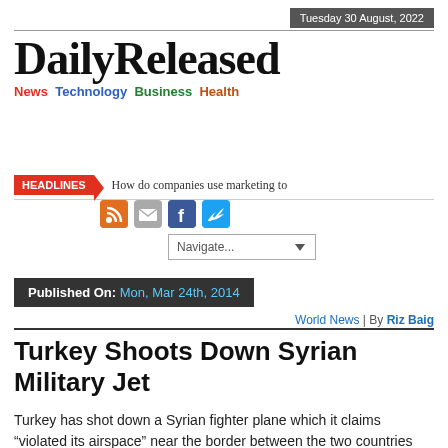Tuesday 30 August, 2022
[Figure (logo): DailyReleased logo with tagline: News Technology Business Health]
HEADLINES  How do companies use marketing to
[Figure (infographic): Social media icons: RSS, Email, Facebook, Twitter]
[Figure (other): Navigate... dropdown selector]
Published On: Mon, Mar 24th, 2014
World News | By Riz Baig
Turkey Shoots Down Syrian Military Jet
Turkey has shot down a Syrian fighter plane which it claims “violated its airspace” near the border between the two countries Prime